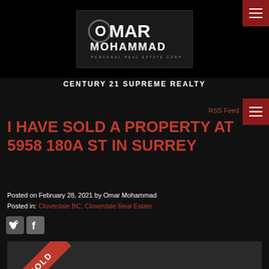[Figure (logo): Omar Mohammad Personal Real Estate Corporation logo on black background]
CENTURY 21 SUPREME REALTY
RSS Feed
I HAVE SOLD A PROPERTY AT 5958 180A ST IN SURREY
Posted on February 28, 2021 by Omar Mohammad
Posted in: Cloverdale BC, Cloverdale Real Estate
[Figure (photo): Sold property photo with red SOLD ribbon overlay]